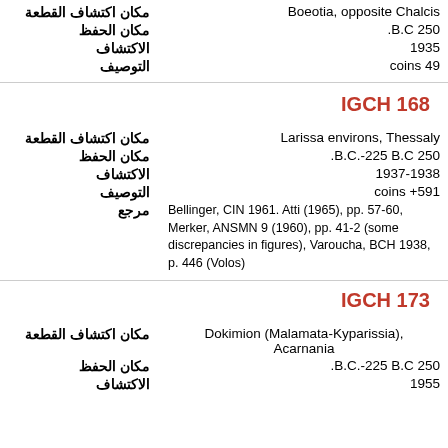مكان اكتشاف القطعة: Boeotia, opposite Chalcis
مكان الحفظ: .B.C 250
الاكتشاف: 1935
التوصيف: coins 49
IGCH 168
مكان اكتشاف القطعة: Larissa environs, Thessaly
مكان الحفظ: .B.C.-225 B.C 250
الاكتشاف: 1937-1938
التوصيف: coins +591
مرجع: Bellinger, CIN 1961. Atti (1965), pp. 57-60, Merker, ANSMN 9 (1960), pp. 41-2 (some discrepancies in figures), Varoucha, BCH 1938, p. 446 (Volos)
IGCH 173
مكان اكتشاف القطعة: Dokimion (Malamata-Kyparissia), Acarnania
مكان الحفظ: .B.C.-225 B.C 250
الاكتشاف: 1955